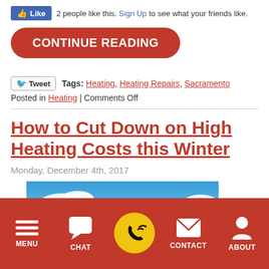[Figure (screenshot): Facebook Like button with text: 2 people like this. Sign Up to see what your friends like.]
CONTINUE READING
Tweet   Tags: Heating, Heating Repairs, Sacramento
Posted in Heating | Comments Off
How to Cut Down on High Heating Costs this Winter
Monday, December 4th, 2017
[Figure (photo): Blue sky with white clouds image, partial view]
MENU   CHAT   [Phone]   CONTACT   ABOUT